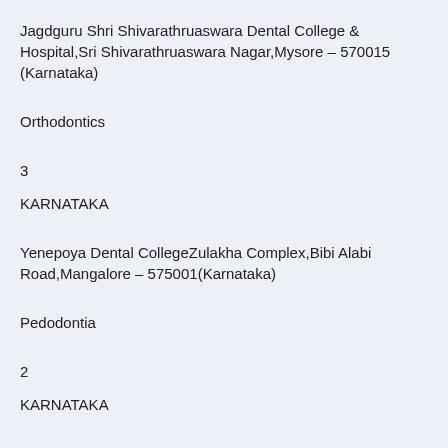Jagdguru Shri Shivarathruaswara Dental College & Hospital,Sri Shivarathruaswara Nagar,Mysore – 570015 (Karnataka)
Orthodontics
3
KARNATAKA
Yenepoya Dental CollegeZulakha Complex,Bibi Alabi Road,Mangalore – 575001(Karnataka)
Pedodontia
2
KARNATAKA
Yenepoya Dental CollegeZulakha Complex,Bibi Alabi Road,Mangalore – 575001(Karnataka)
Oral Medicine & Radiology